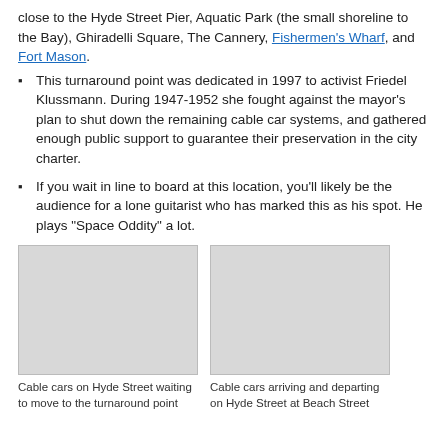close to the Hyde Street Pier, Aquatic Park (the small shoreline to the Bay), Ghiradelli Square, The Cannery, Fishermen's Wharf, and Fort Mason.
This turnaround point was dedicated in 1997 to activist Friedel Klussmann. During 1947-1952 she fought against the mayor's plan to shut down the remaining cable car systems, and gathered enough public support to guarantee their preservation in the city charter.
If you wait in line to board at this location, you'll likely be the audience for a lone guitarist who has marked this as his spot. He plays "Space Oddity" a lot.
[Figure (photo): Photo of cable cars on Hyde Street waiting to move to the turnaround point]
Cable cars on Hyde Street waiting to move to the turnaround point
[Figure (photo): Photo of cable cars arriving and departing on Hyde Street at Beach Street]
Cable cars arriving and departing on Hyde Street at Beach Street